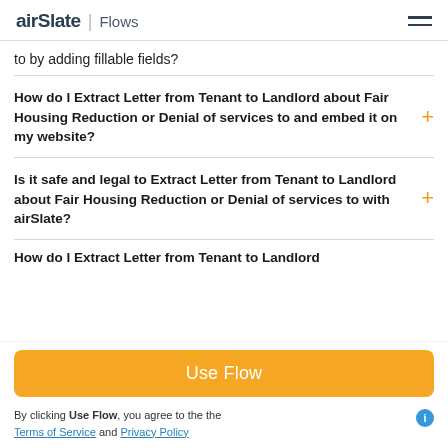airSlate | Flows
to by adding fillable fields?
How do I Extract Letter from Tenant to Landlord about Fair Housing Reduction or Denial of services to and embed it on my website?
Is it safe and legal to Extract Letter from Tenant to Landlord about Fair Housing Reduction or Denial of services to with airSlate?
How do I Extract Letter from Tenant to Landlord
Use Flow
By clicking Use Flow, you agree to the Terms of Service and Privacy Policy